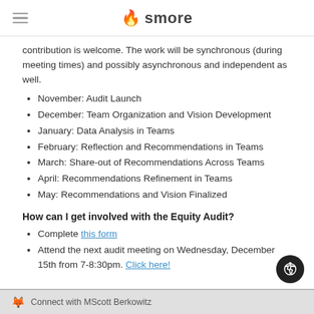smore
contribution is welcome. The work will be synchronous (during meeting times) and possibly asynchronous and independent as well.
November: Audit Launch
December: Team Organization and Vision Development
January: Data Analysis in Teams
February: Reflection and Recommendations in Teams
March: Share-out of Recommendations Across Teams
April: Recommendations Refinement in Teams
May: Recommendations and Vision Finalized
How can I get involved with the Equity Audit?
Complete this form
Attend the next audit meeting on Wednesday, December 15th from 7-8:30pm. Click here!
Connect with MScott Berkowitz